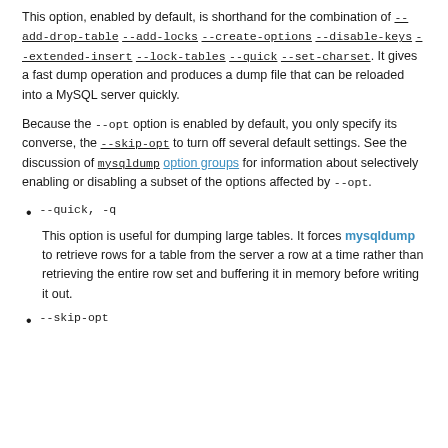This option, enabled by default, is shorthand for the combination of --add-drop-table --add-locks --create-options --disable-keys --extended-insert --lock-tables --quick --set-charset. It gives a fast dump operation and produces a dump file that can be reloaded into a MySQL server quickly.
Because the --opt option is enabled by default, you only specify its converse, the --skip-opt to turn off several default settings. See the discussion of mysqldump option groups for information about selectively enabling or disabling a subset of the options affected by --opt.
--quick, -q
This option is useful for dumping large tables. It forces mysqldump to retrieve rows for a table from the server a row at a time rather than retrieving the entire row set and buffering it in memory before writing it out.
--skip-opt